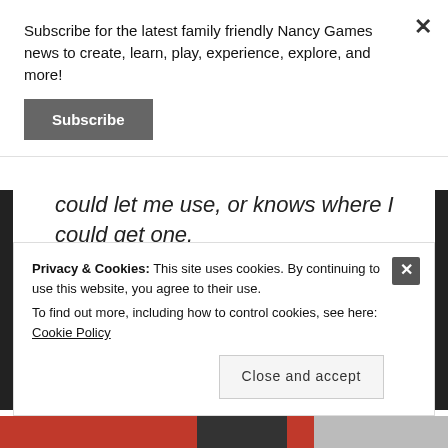Subscribe for the latest family friendly Nancy Games news to create, learn, play, experience, explore, and more!
Subscribe
could let me use, or knows where I could get one.
Tagged Accountability, DailyWriting, GML, NCFDD, SGD
Privacy & Cookies: This site uses cookies. By continuing to use this website, you agree to their use.
To find out more, including how to control cookies, see here: Cookie Policy
Close and accept